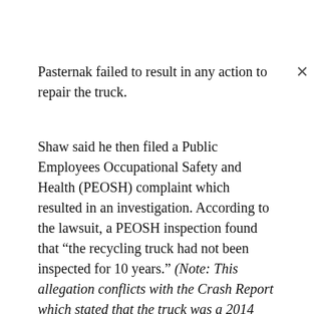Pasternak failed to result in any action to repair the truck.
Shaw said he then filed a Public Employees Occupational Safety and Health (PEOSH) complaint which resulted in an investigation. According to the lawsuit, a PEOSH inspection found that “the recycling truck had not been inspected for 10 years.” (Note: This allegation conflicts with the Crash Report which stated that the truck was a 2014 model. Note below that the New Jersey Department of Labor and Workforce Development’s March 6, 2017 violation notice